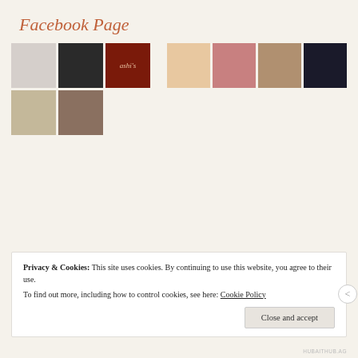Facebook Page
[Figure (photo): Grid of profile photos and thumbnails in two groups]
Privacy & Cookies: This site uses cookies. By continuing to use this website, you agree to their use.
To find out more, including how to control cookies, see here: Cookie Policy
Close and accept
HUBAITHUB.AG